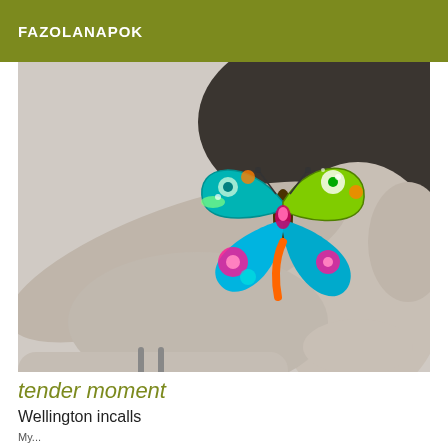FAZOLANAPOK
[Figure (photo): Black and white photograph of a person with dark hair, face hidden by a large colorful butterfly ornament/decoration. The image shows arms, hands, and a person in an intimate, tender pose. The butterfly is brightly colored with teal, pink, green, and orange.]
tender moment
Wellington incalls
My...